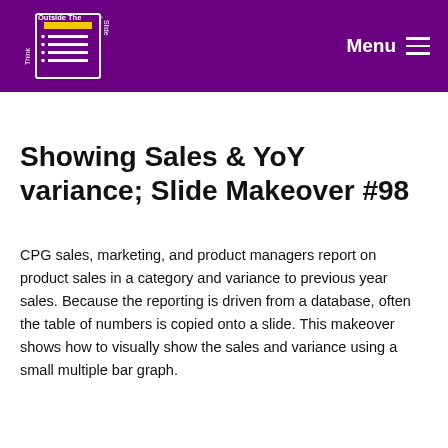Think Outside The Slide   Menu
Showing Sales & YoY variance; Slide Makeover #98
CPG sales, marketing, and product managers report on product sales in a category and variance to previous year sales. Because the reporting is driven from a database, often the table of numbers is copied onto a slide. This makeover shows how to visually show the sales and variance using a small multiple bar graph.